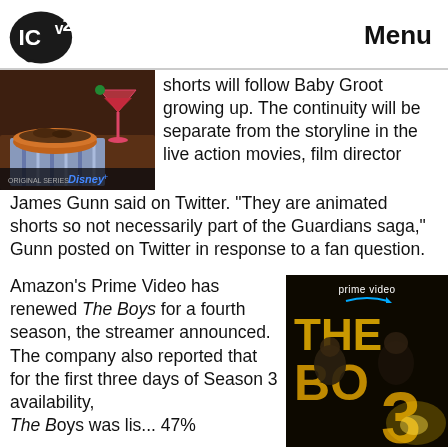ICv2 Menu
[Figure (photo): Food/drink photo with Disney+ branding at bottom]
shorts will follow Baby Groot growing up.  The continuity will be separate from the storyline in the live action movies, film director James Gunn said on Twitter.  "They are animated shorts so not necessarily part of the Guardians saga," Gunn posted on Twitter in response to a fan question.
Amazon's Prime Video has renewed The Boys for a fourth season, the streamer announced.  The company also reported that for the first three days of Season 3 availability, The Boys was lis...
[Figure (photo): Amazon Prime Video promotional image for The Boys Season 3]